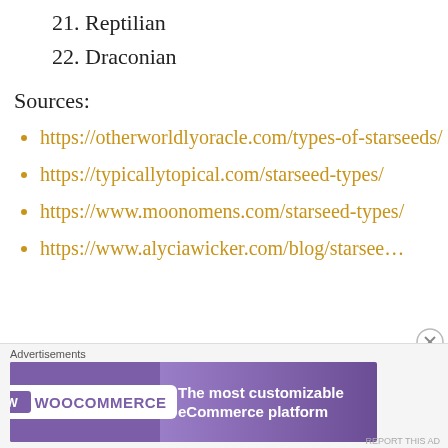21. Reptilian
22. Draconian
Sources:
https://otherworldlyoracle.com/types-of-starseeds/
https://typicallytopical.com/starseed-types/
https://www.moonomens.com/starseed-types/
https://www.alyciawicker.com/blog/starsee…
[Figure (other): WooCommerce advertisement banner: 'The most customizable eCommerce platform']